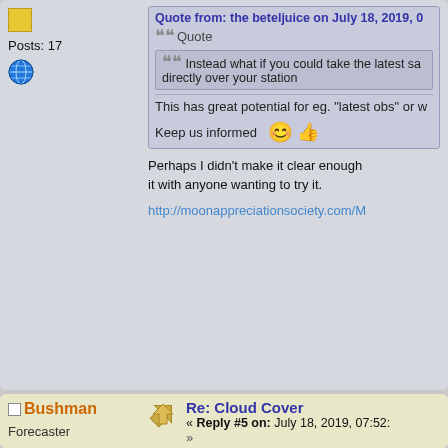Posts: 17
Quote from: the beteljuice on July 18, 2019,
Quote
Instead what if you could take the latest sa directly over your station
This has great potential for eg. 'latest obs' or w
Keep us informed 😊👍
Perhaps I didn't make it clear enough it with anyone wanting to try it.
http://moonappreciationsociety.com/M
Bushman
Forecaster
Posts: 7552
Re: Cloud Cover
« Reply #5 on: July 18, 2019, 07:52:
»
Well done! There was someone here webcam image. Can you share your